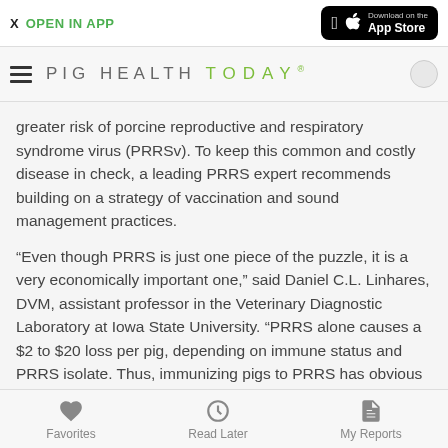X  OPEN IN APP | Download on the App Store
[Figure (logo): Pig Health TODAY logo with hamburger menu icon and search circle]
greater risk of porcine reproductive and respiratory syndrome virus (PRRSv). To keep this common and costly disease in check, a leading PRRS expert recommends building on a strategy of vaccination and sound management practices.
“Even though PRRS is just one piece of the puzzle, it is a very economically important one,” said Daniel C.L. Linhares, DVM, assistant professor in the Veterinary Diagnostic Laboratory at Iowa State University. “PRRS alone causes a $2 to $20 loss per pig, depending on immune status and PRRS isolate. Thus, immunizing pigs to PRRS has obvious benefits when the risk of infection is considerable.”
Favorites   Read Later   My Reports